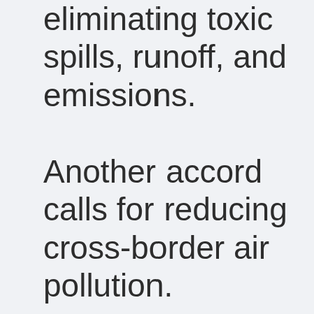eliminating toxic spills, runoff, and emissions. Another accord calls for reducing cross-border air pollution. But it's the accord Unendangered Species Protection